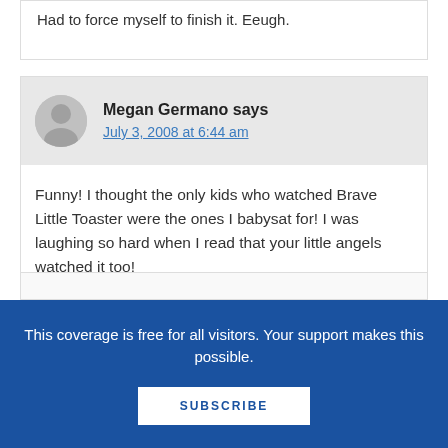Had to force myself to finish it. Eeugh.
Megan Germano says
July 3, 2008 at 6:44 am
Funny! I thought the only kids who watched Brave Little Toaster were the ones I babysat for! I was laughing so hard when I read that your little angels watched it too!
This coverage is free for all visitors. Your support makes this possible.